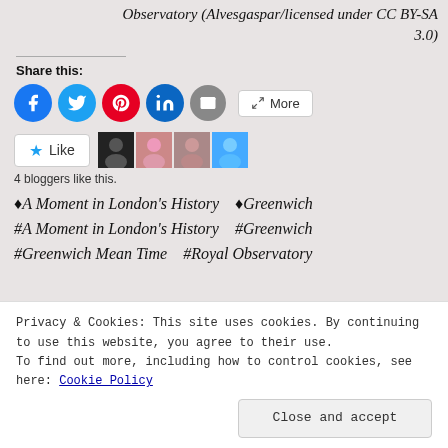Observatory (Alvesgaspar/licensed under CC BY-SA 3.0)
Share this:
[Figure (other): Social share buttons: Facebook, Twitter, Pinterest, LinkedIn, Email, More]
[Figure (other): Like button with 4 blogger avatars]
4 bloggers like this.
♦A Moment in London's History   ♦Greenwich
#A Moment in London's History   #Greenwich
#Greenwich Mean Time   #Royal Observatory
Privacy & Cookies: This site uses cookies. By continuing to use this website, you agree to their use.
To find out more, including how to control cookies, see here: Cookie Policy